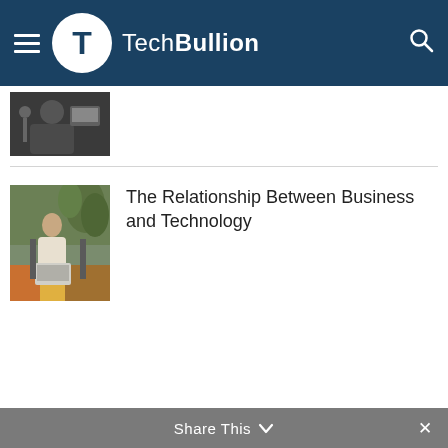TechBullion
[Figure (photo): Person seen from behind, dark background, working at desk with headset]
[Figure (photo): Woman sitting in a modern office/cafe setting with a laptop, greenery in background]
The Relationship Between Business and Technology
Share This